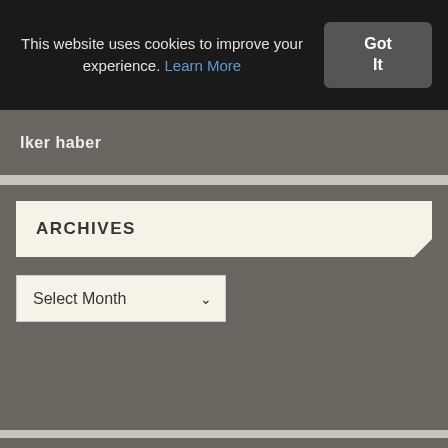This website uses cookies to improve your experience. Learn More
Got It
IKer haber
ARCHIVES
Select Month